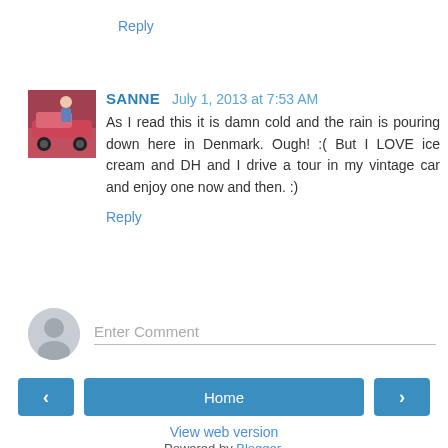Reply
SANNE  July 1, 2013 at 7:53 AM
[Figure (photo): Profile photo of commenter SANNE showing a person near a red vintage car]
As I read this it is damn cold and the rain is pouring down here in Denmark. Ough! :( But I LOVE ice cream and DH and I drive a tour in my vintage car and enjoy one now and then. :)
Reply
[Figure (other): Generic user avatar icon (gray silhouette)]
Enter Comment
< Home >
View web version
Powered by Blogger.